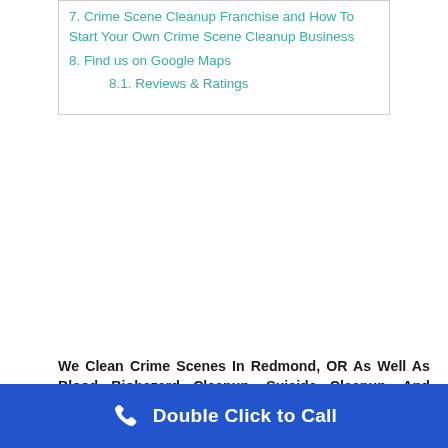7. Crime Scene Cleanup Franchise and How To Start Your Own Crime Scene Cleanup Business
8. Find us on Google Maps
8.1. Reviews & Ratings
We Clean Crime Scenes In Redmond, OR As Well As Blood Biohazard Cleanup, Suicide Cleanup, And Unattended Death Clean Up In Redmond Call 1-888-629-1222
As one of the most respected names in crime scene cleanup and a immediate service availability for crime scene cleanup in Redmond, we only present you with the very best quality hazmat cleaning services. Our urgent situation crime scene cleanup Redmond are on call
Double Click to Call